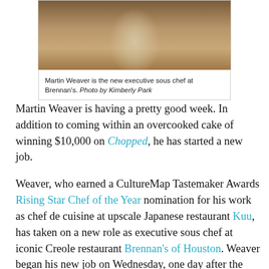[Figure (photo): Martin Weaver, a chef in white chef's coat and tan apron, standing in front of wooden shelving.]
Martin Weaver is the new executive sous chef at Brennan's. Photo by Kimberly Park
Martin Weaver is having a pretty good week. In addition to coming within an overcooked cake of winning $10,000 on Chopped, he has started a new job.
Weaver, who earned a CultureMap Tastemaker Awards Rising Star Chef of the Year nomination for his work as chef de cuisine at upscale Japanese restaurant Kuu, has taken on a new role as executive sous chef at iconic Creole restaurant Brennan's of Houston. Weaver began his new job on Wednesday, one day after the popular Food Network show aired.